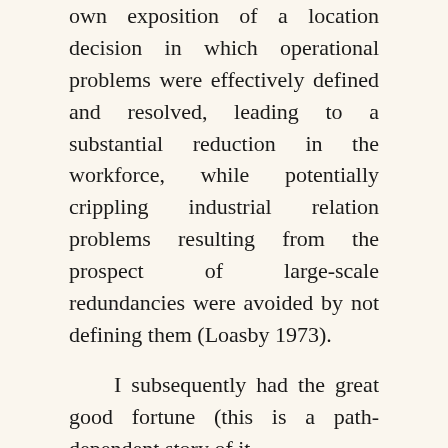own exposition of a location decision in which operational problems were effectively defined and resolved, leading to a substantial reduction in the workforce, while potentially crippling industrial relation problems resulting from the prospect of large-scale redundancies were avoided by not defining them (Loasby 1973).

I subsequently had the great good fortune (this is a path-dependent story of it...